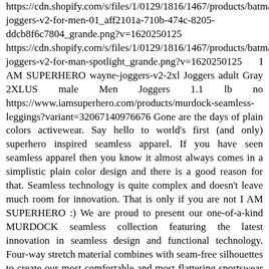https://cdn.shopify.com/s/files/1/0129/1816/1467/products/batman-joggers-v2-for-men-01_aff2101a-710b-474c-8205-ddcb8f6c7804_grande.png?v=1620250125 https://cdn.shopify.com/s/files/1/0129/1816/1467/products/batman-joggers-v2-for-man-spotlight_grande.png?v=1620250125 I AM SUPERHERO wayne-joggers-v2-2xl Joggers adult Gray 2XLUS male Men Joggers 1.1 lb no https://www.iamsuperhero.com/products/murdock-seamless-leggings?variant=32067140976676 Gone are the days of plain colors activewear. Say hello to world's first (and only) superhero inspired seamless apparel. If you have seen seamless apparel then you know it almost always comes in a simplistic plain color design and there is a good reason for that. Seamless technology is quite complex and doesn't leave much room for innovation. That is only if you are not I AM SUPERHERO :) We are proud to present our one-of-a-kind MURDOCK seamless collection featuring the latest innovation in seamless design and functional technology. Four-way stretch material combines with seam-free silhouettes to create our most comfortable and most flattering sportswear yet.  Seamless clothing has not stitches or seams (duh!) which is the newest and innovative way of manufacturing clothing. The absence of stitches and seams brings a number of benefits: NON-CHAFING IMPROVED DURABILITY FLEXIBILITY LIGHT &amp; BREATHABLE Probably the single biggest benefit (besides looking amazing) to wearing seamless activewear is that this